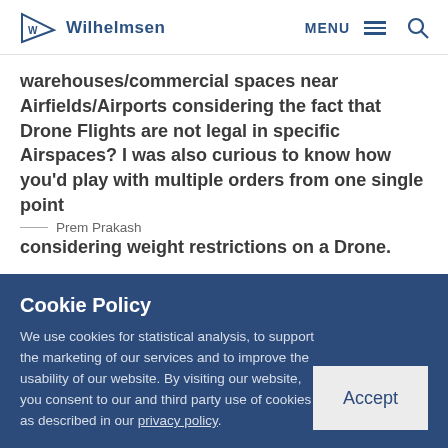Wilhelmsen — MENU (navigation bar with hamburger and search icons)
warehouses/commercial spaces near Airfields/Airports considering the fact that Drone Flights are not legal in specific Airspaces? I was also curious to know how you'd play with multiple orders from one single point considering weight restrictions on a Drone.
Prem Prakash
Cookie Policy
We use cookies for statistical analysis, to support the marketing of our services and to improve the usability of our website. By visiting our website, you consent to our and third party use of cookies as described in our privacy policy.